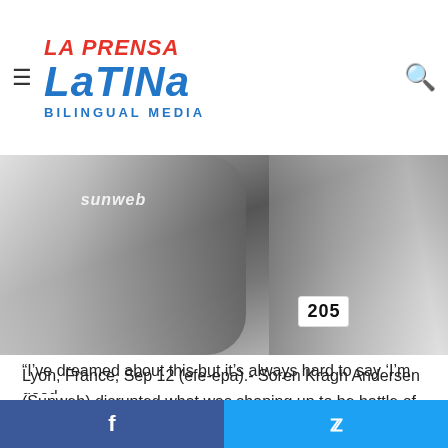La Prensa Latina Bilingual Media
[Figure (photo): Two cyclists in white Sunweb team jerseys, one with race number 205 visible, holding bikes at what appears to be a race start or finish area.]
Lyon, France, Sep 12 (efe-epa).- Soren Kragh Andersen (Sunweb) disrupted what was shaping up to be battle of the sprinters in Stage 14 of the Tour de France, launching an attack in the final 3km (1.9mi) to claim the laurels here Saturday.
“I’ve dreamed about this but it’s always hard to say ‘I’m good